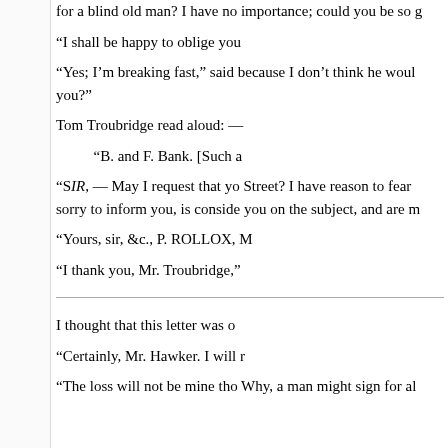for a blind old man? I have no importance; could you be so g
“I shall be happy to oblige you
“Yes; I’m breaking fast,” said because I don’t think he woul you?”
Tom Troubridge read aloud: —
“B. and F. Bank. [Such a
“SİR, — May I request that yo Street? I have reason to fear sorry to inform you, is conside you on the subject, and are m
“Yours, sir, &c., P. ROLLOX, M
“I thank you, Mr. Troubridge,”
I thought that this letter was o
“Certainly, Mr. Hawker. I will r
“The loss will not be mine tho Why, a man might sign for al